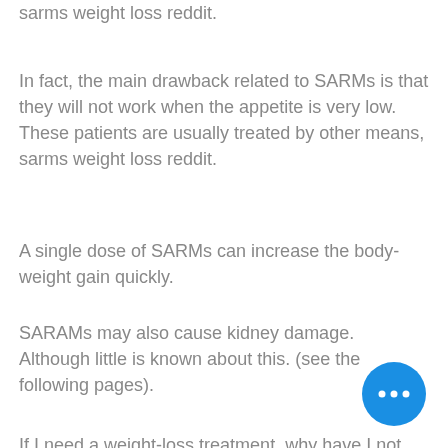sarms weight loss reddit.
In fact, the main drawback related to SARMs is that they will not work when the appetite is very low. These patients are usually treated by other means, sarms weight loss reddit.
A single dose of SARMs can increase the body-weight gain quickly.
SARAMs may also cause kidney damage. Although little is known about this. (see the following pages).
If I need a weight-loss treatment, why have I not used SARMs, or can I safely and effectively use SARMs?
The key question when using SARMs is to decide why to use these techniques for of weight, when a weight reduction is really desired and not to be considered by other